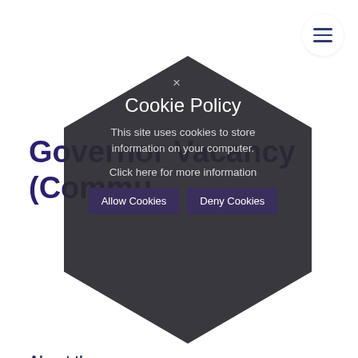Governor Vacancy (Community)
About the
Homer Ge a, improving be in Buckinghamshire. We believe in 'Achievement and Opportunity For All' and we are committed to ensuring our students receive the best possible education. The school achieved our highest ever GCSE and A-Level results in 2017 and recently we
[Figure (screenshot): Cookie policy popup overlay with dark hexagon background shape. Contains title 'Cookie Policy', description text 'This site uses cookies to store information on your computer.', link 'Click here for more information', and two buttons: 'Allow Cookies' and 'Deny Cookies'. An X close button appears at the top.]